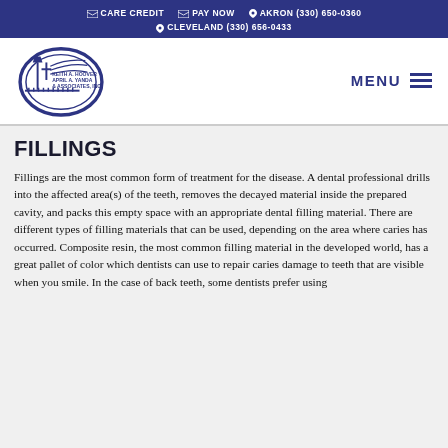CARE CREDIT  PAY NOW  AKRON (330) 650-0360  CLEVELAND (330) 656-0433
[Figure (logo): Keith A. Hoover, April A. Yanda & Associates, Inc. dental practice logo — oval shape with street lamp and text]
MENU
FILLINGS
Fillings are the most common form of treatment for the disease. A dental professional drills into the affected area(s) of the teeth, removes the decayed material inside the prepared cavity, and packs this empty space with an appropriate dental filling material. There are different types of filling materials that can be used, depending on the area where caries has occurred. Composite resin, the most common filling material in the developed world, has a great pallet of color which dentists can use to repair caries damage to teeth that are visible when you smile. In the case of back teeth, some dentists prefer using